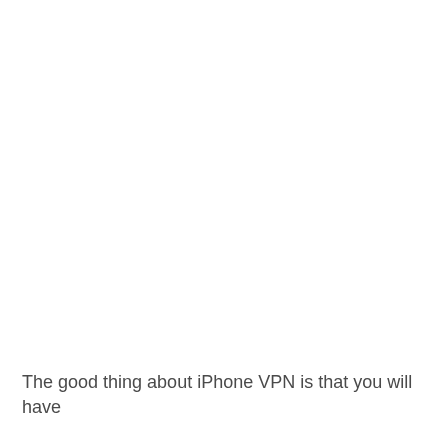The good thing about iPhone VPN is that you will have